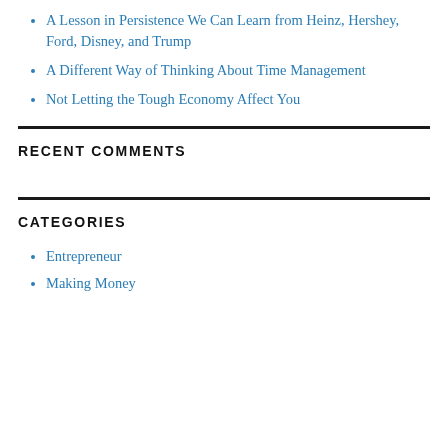A Lesson in Persistence We Can Learn from Heinz, Hershey, Ford, Disney, and Trump
A Different Way of Thinking About Time Management
Not Letting the Tough Economy Affect You
RECENT COMMENTS
CATEGORIES
Entrepreneur
Making Money